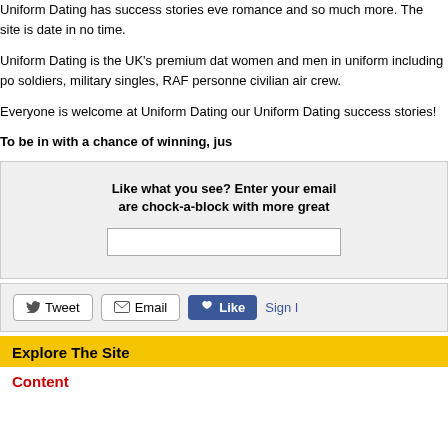Uniform Dating has success stories eve romance and so much more. The site is date in no time.
Uniform Dating is the UK's premium dat women and men in uniform including po soldiers, military singles, RAF personne civilian air crew.
Everyone is welcome at Uniform Dating our Uniform Dating success stories!
To be in with a chance of winning, jus
Like what you see? Enter your email are chock-a-block with more great
Explore The Site
Content